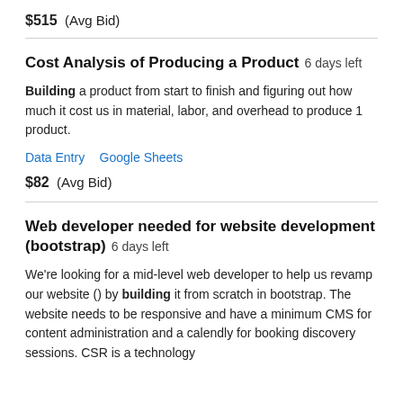$515  (Avg Bid)
Cost Analysis of Producing a Product  6 days left
Building a product from start to finish and figuring out how much it cost us in material, labor, and overhead to produce 1 product.
Data Entry   Google Sheets
$82  (Avg Bid)
Web developer needed for website development (bootstrap)  6 days left
We're looking for a mid-level web developer to help us revamp our website () by building it from scratch in bootstrap. The website needs to be responsive and have a minimum CMS for content administration and a calendly for booking discovery sessions. CSR is a technology